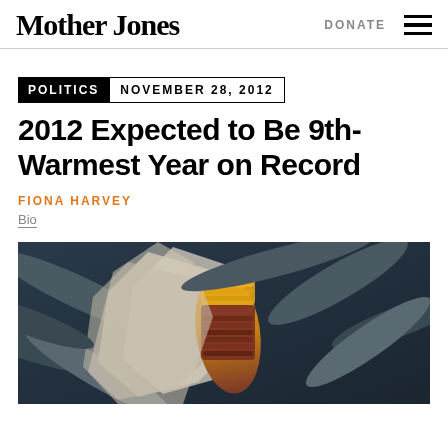Mother Jones | DONATE
POLITICS   NOVEMBER 28, 2012
2012 Expected to Be 9th-Warmest Year on Record
FIONA HARVEY
Bio
[Figure (photo): Close-up photograph of an ear of corn with yellow and red/purple kernels partially husked, set against a background of corn stalks and leaves in dark blue-grey tones.]